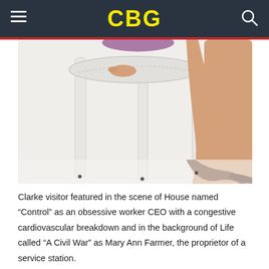CBG
[Figure (photo): Close-up photo of a woman's legs next to a white ornate chair, wearing high heels, on a white background.]
Clarke visitor featured in the scene of House named “Control” as an obsessive worker CEO with a congestive cardiovascular breakdown and in the background of Life called “A Civil War” as Mary Ann Farmer, the proprietor of a service station.